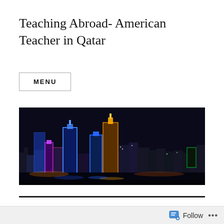Teaching Abroad- American Teacher in Qatar
MENU
[Figure (photo): Night skyline of Doha, Qatar with illuminated skyscrapers in blue, purple, and gold against a dark sky, with water reflection in the foreground.]
Tag: Woqod
Follow ...